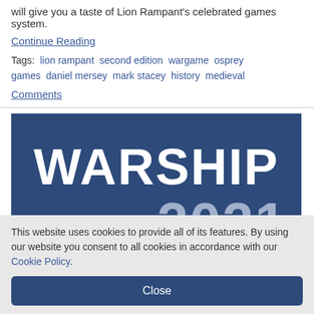will give you a taste of Lion Rampant's celebrated games system.
Continue Reading
Tags:  lion rampant  second edition  wargame  osprey games  daniel mersey  mark stacey  history  medieval
Comments
[Figure (illustration): Warship 2021 banner image with bold white WARSHIP text and large grey 2021 number on dark navy blue background, with warship silhouette outline at bottom]
This website uses cookies to provide all of its features. By using our website you consent to all cookies in accordance with our Cookie Policy.
Close